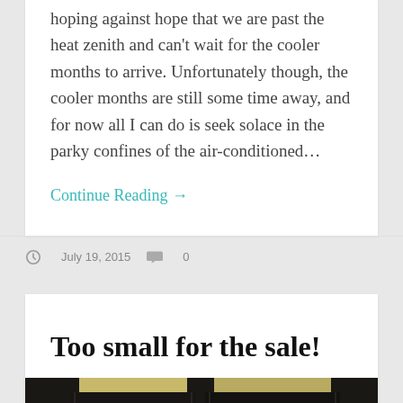hoping against hope that we are past the heat zenith and can't wait for the cooler months to arrive. Unfortunately though, the cooler months are still some time away, and for now all I can do is seek solace in the parky confines of the air-conditioned...
Continue Reading →
July 19, 2015   0
Too small for the sale!
[Figure (photo): A dark photograph showing what appears to be black fabric items or bags with some lighter colored elements visible.]